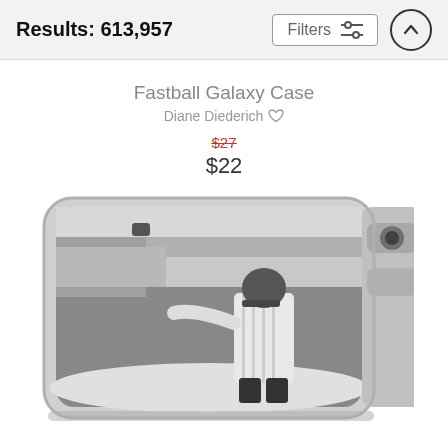Results: 613,957
Fastball Galaxy Case
Diane Diederich ♡
$27 (strikethrough) $22
[Figure (photo): A Samsung Galaxy phone case featuring a black and white vintage photograph of a baseball pitcher mid-throw in a packed stadium. The case shows the phone's camera cutout on the right side.]